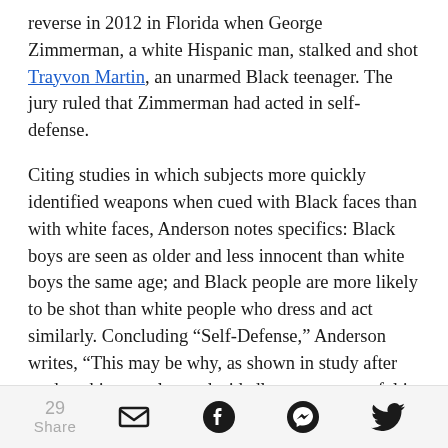reverse in 2012 in Florida when George Zimmerman, a white Hispanic man, stalked and shot Trayvon Martin, an unarmed Black teenager. The jury ruled that Zimmerman had acted in self-defense.
Citing studies in which subjects more quickly identified weapons when cued with Black faces than with white faces, Anderson notes specifics: Black boys are seen as older and less innocent than white boys the same age; and Black people are more likely to be shot than white people who dress and act similarly. Concluding “Self-Defense,” Anderson writes, “This may be why, as shown in study after study, white people are decidedly more successful in invoking Stand Your Ground as a defense than are
29 Share